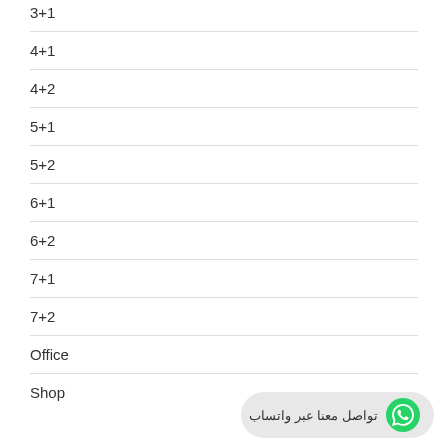3+1
4+1
4+2
5+1
5+2
6+1
6+2
7+1
7+2
Office
Shop
تواصل معنا عبر واتساب